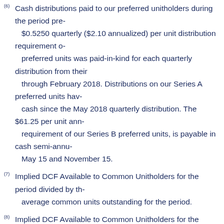(6) Cash distributions paid to our preferred unitholders during the period pre- $0.5250 quarterly ($2.10 annualized) per unit distribution requirement o- preferred units was paid-in-kind for each quarterly distribution from their through February 2018. Distributions on our Series A preferred units hav- cash since the May 2018 quarterly distribution. The $61.25 per unit ann- requirement of our Series B preferred units, is payable in cash semi-annu- May 15 and November 15.
(7) Implied DCF Available to Common Unitholders for the period divided by th- average common units outstanding for the period.
(8) Implied DCF Available to Common Unitholders for the period, adjusted for preferred unit cash distributions paid, divided by the weighted average c- and common equivalent units outstanding for the period. Our Series A pr- convertible into common units, generally on a one-for-one basis and subj- customary anti-dilution adjustments, in whole or in part, subject to certa-